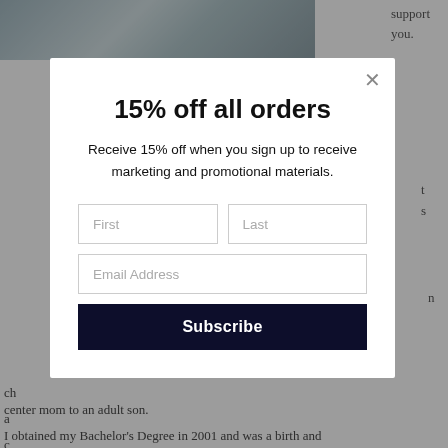[Figure (screenshot): Partial website page visible behind a modal popup showing a discount sign-up form]
15% off all orders
Receive 15% off when you sign up to receive marketing and promotional materials.
First | Last | Email Address | Subscribe